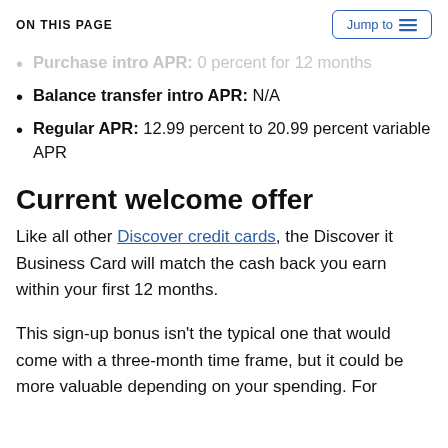ON THIS PAGE | Jump to
Purchase intro APR: 0 percent for 12 months
Balance transfer intro APR: N/A
Regular APR: 12.99 percent to 20.99 percent variable APR
Current welcome offer
Like all other Discover credit cards, the Discover it Business Card will match the cash back you earn within your first 12 months.
This sign-up bonus isn't the typical one that would come with a three-month time frame, but it could be more valuable depending on your spending. For example, the Bank of America® Bus...